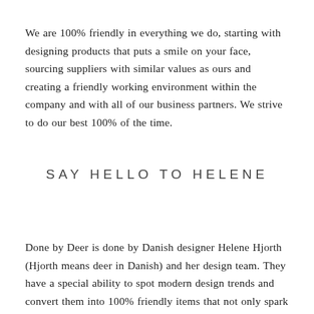We are 100% friendly in everything we do, starting with designing products that puts a smile on your face, sourcing suppliers with similar values as ours and creating a friendly working environment within the company and with all of our business partners. We strive to do our best 100% of the time.
SAY HELLO TO HELENE
Done by Deer is done by Danish designer Helene Hjorth (Hjorth means deer in Danish) and her design team. They have a special ability to spot modern design trends and convert them into 100% friendly items that not only spark the imagination of